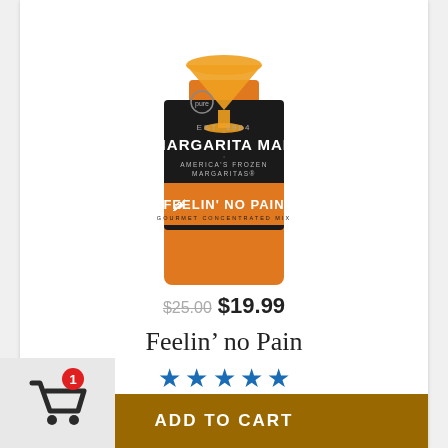[Figure (photo): Margarita Man bottle - EST. 1984 MARGARITA MAN AMERICA'S FROZEN MARGARITAS, FEELIN' NO PAIN GOURMET CONCENTRATED MIX, orange bottle with dark label]
$25.00 $19.99
Feelin’ no Pain
★★★★★ (5 stars)
ADD TO CART